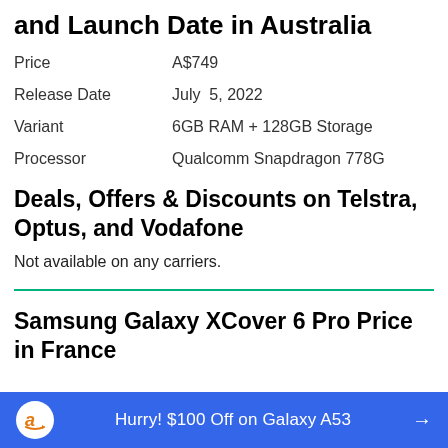and Launch Date in Australia
| Price | A$749 |
| Release Date | July 5, 2022 |
| Variant | 6GB RAM + 128GB Storage |
| Processor | Qualcomm Snapdragon 778G |
Deals, Offers & Discounts on Telstra, Optus, and Vodafone
Not available on any carriers.
Samsung Galaxy XCover 6 Pro Price in France
Hurry! $100 Off on Galaxy A53